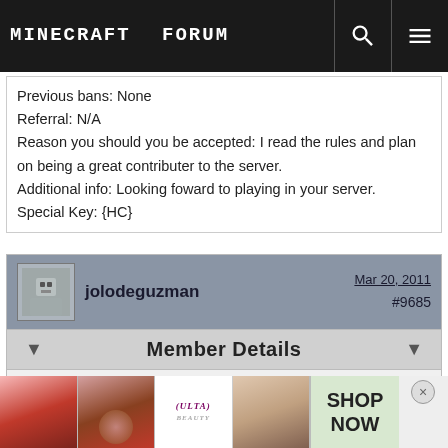Minecraft Forum
Previous bans: None
Referral: N/A
Reason you should you be accepted: I read the rules and plan on being a great contributer to the server.
Additional info: Looking foward to playing in your server.
Special Key: {HC}
jolodeguzman   Mar 20, 2011   #9685
Member Details
I would like to join the server.

In-game name: jolo112007
Location and Age: Philippines, 15
Previous bans:None
Referral:
Reason you should you be accepted: I am one of the friendliest person...
Additional...
Special...
[Figure (screenshot): ULTA beauty advertisement banner at the bottom of the page]